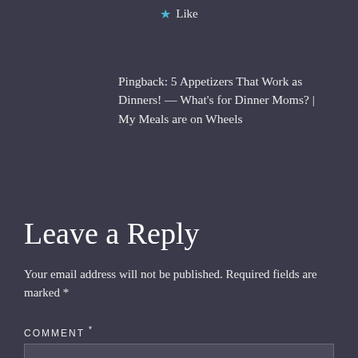★ Like
Pingback: 5 Appetizers That Work as Dinners! — What's for Dinner Moms? | My Meals are on Wheels
Leave a Reply
Your email address will not be published. Required fields are marked *
COMMENT *